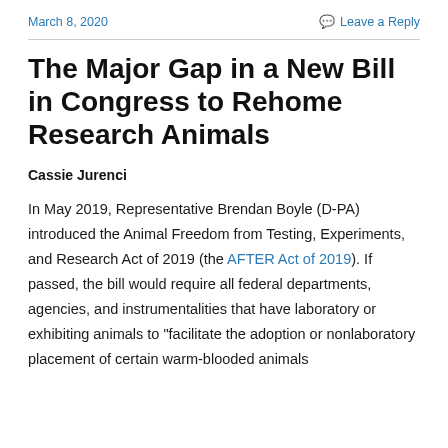March 8, 2020
Leave a Reply
The Major Gap in a New Bill in Congress to Rehome Research Animals
Cassie Jurenci
In May 2019, Representative Brendan Boyle (D-PA) introduced the Animal Freedom from Testing, Experiments, and Research Act of 2019 (the AFTER Act of 2019). If passed, the bill would require all federal departments, agencies, and instrumentalities that have laboratory or exhibiting animals to “facilitate the adoption or nonlaboratory placement of certain warm-blooded animals